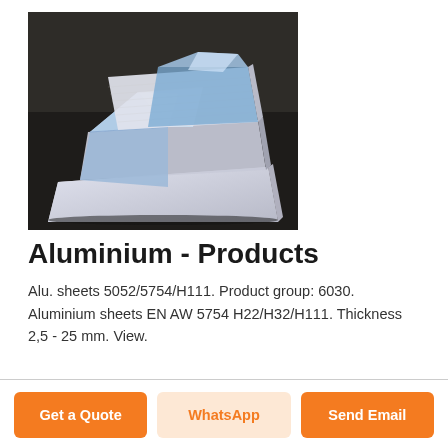[Figure (photo): Three aluminium sheets stacked on a dark surface, partially covered with blue protective film]
Aluminium - Products
Alu. sheets 5052/5754/H111. Product group: 6030. Aluminium sheets EN AW 5754 H22/H32/H111. Thickness 2,5 - 25 mm. View.
Get a Quote
WhatsApp
Send Email